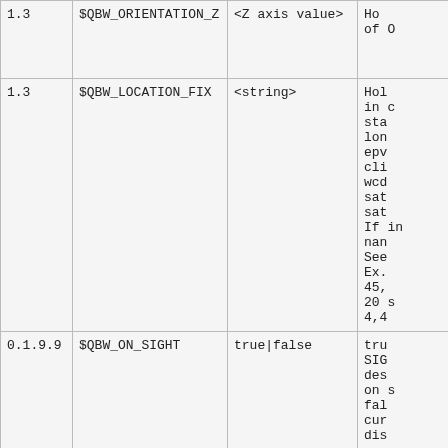| Version | Variable | Value | Description |
| --- | --- | --- | --- |
| 1.3 | $QBW_ORIENTATION_Z | <Z axis value> | Ho... of O... |
| 1.3 | $QBW_LOCATION_FIX | <string> | Hol... in c... sta... lon... epv... cli... wcd... sat... sat... If in... nan... See... Ex. 45,... 20 ... 4,4... |
| 0.1.9.9 | $QBW_ON_SIGHT | true|false | tru... SIG... des... on s... fal... cur... dis... |
| 1.0.2 | $QBW_IS_CONNECTED | true|false | tru... the... |